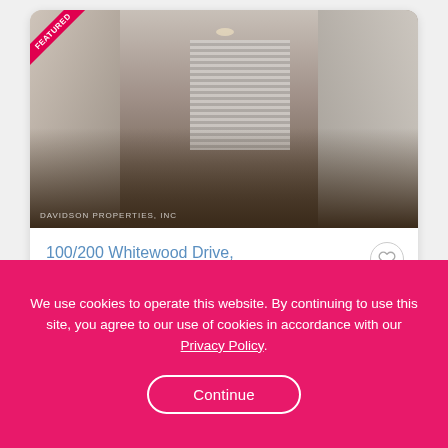[Figure (photo): Interior photo of a home showing hardwood floors, white doors on the left, vertical blinds in the background, a gray support column, and white kitchen cabinets on the right. Watermark reads DAVIDSON PROPERTIES, INC. A pink 'FEATURED' ribbon badge is in the top-left corner.]
100/200 Whitewood Drive, San Antonio, TX
We use cookies to operate this website. By continuing to use this site, you agree to our use of cookies in accordance with our Privacy Policy.
Continue